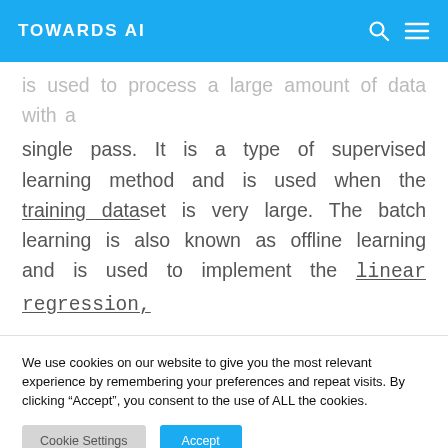TOWARDS AI
is used to process a large amount of data with a single pass. It is a type of supervised learning method and is used when the training dataset is very large. The batch learning is also known as offline learning and is used to implement the linear regression,
We use cookies on our website to give you the most relevant experience by remembering your preferences and repeat visits. By clicking “Accept”, you consent to the use of ALL the cookies.